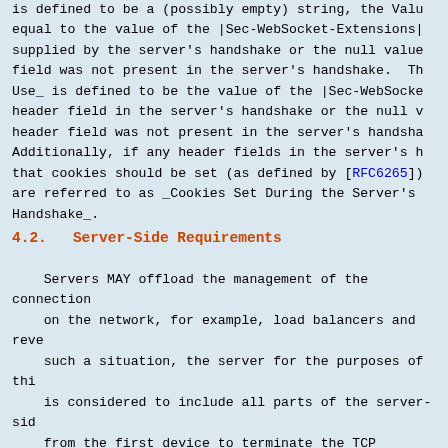is defined to be a (possibly empty) string, the value equal to the value of the |Sec-WebSocket-Extensions| supplied by the server's handshake or the null value field was not present in the server's handshake. The Use_ is defined to be the value of the |Sec-WebSocket- header field in the server's handshake or the null v header field was not present in the server's handsha Additionally, if any header fields in the server's h that cookies should be set (as defined by [RFC6265]) are referred to as _Cookies Set During the Server's Handshake_.
4.2.  Server-Side Requirements
Servers MAY offload the management of the connection on the network, for example, load balancers and reve such a situation, the server for the purposes of thi is considered to include all parts of the server-sid from the first device to terminate the TCP connectio the server that processes requests and sends respons